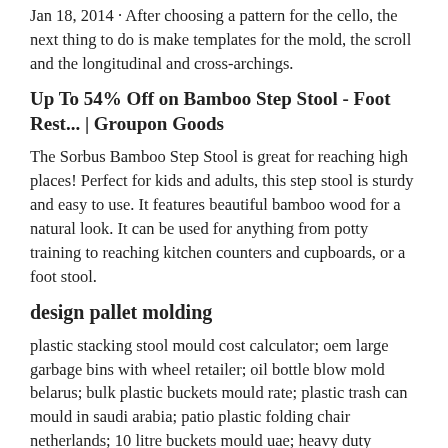Jan 18, 2014 · After choosing a pattern for the cello, the next thing to do is make templates for the mold, the scroll and the longitudinal and cross-archings.
Up To 54% Off on Bamboo Step Stool - Foot Rest... | Groupon Goods
The Sorbus Bamboo Step Stool is great for reaching high places! Perfect for kids and adults, this step stool is sturdy and easy to use. It features beautiful bamboo wood for a natural look. It can be used for anything from potty training to reaching kitchen counters and cupboards, or a foot stool.
design pallet molding
plastic stacking stool mould cost calculator; oem large garbage bins with wheel retailer; oil bottle blow mold belarus; bulk plastic buckets mould rate; plastic trash can mould in saudi arabia; patio plastic folding chair netherlands; 10 litre buckets mould uae; heavy duty